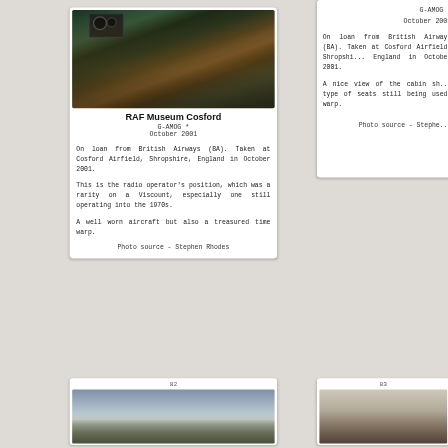[Figure (photo): Interior cockpit photo showing radio operator's position with green panels and instrument cluster at RAF Museum Cosford]
RAF Museum Cosford
G-AMOG *
October 2001
On loan from British Airways (BA). Taken at Cosford Airfield, Shropshire, England in October 2001.

This is the radio operator's position, which was a rarity on a Viscount, especially one still operating into the 1970s.

A well worn aircraft but also a treasured time warp.
Photo source - Stephen Rhodes
G-AMOG *
October 2001
On loan from British Airways (BA). Taken at Cosford Airfield, Shropshire, England in October 2001.

A nice view of the cabin sh... type of seats still being used. warp.
Photo source - Stephe...
82
[Figure (photo): Exterior photo of aircraft on airfield with overcast sky]
83
[Figure (photo): Partial view of aircraft tail section]